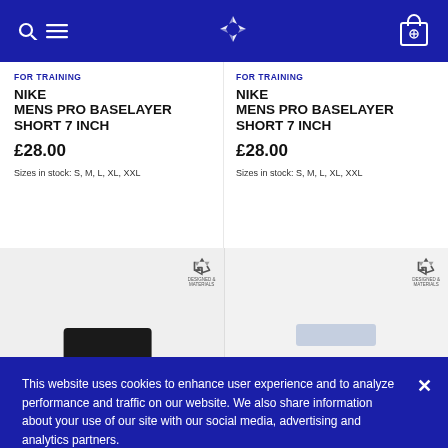Nike store navigation header
FOR TRAINING
NIKE MENS PRO BASELAYER SHORT 7 INCH
£28.00
Sizes in stock: S, M, L, XL, XXL
FOR TRAINING
NIKE MENS PRO BASELAYER SHORT 7 INCH
£28.00
Sizes in stock: S, M, L, XL, XXL
[Figure (photo): Product images of Nike shorts with recycled materials badge]
This website uses cookies to enhance user experience and to analyze performance and traffic on our website. We also share information about your use of our site with our social media, advertising and analytics partners.
Do Not Sell My Personal Information
Accept Cookies